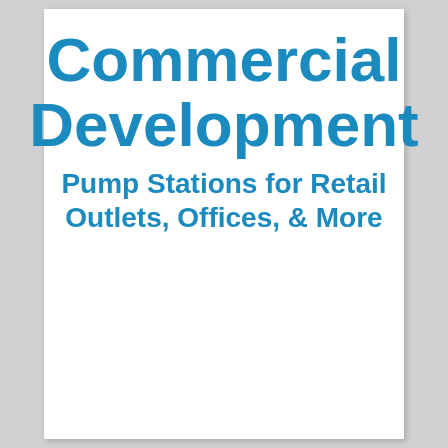Commercial Development
Pump Stations for Retail Outlets, Offices, & More